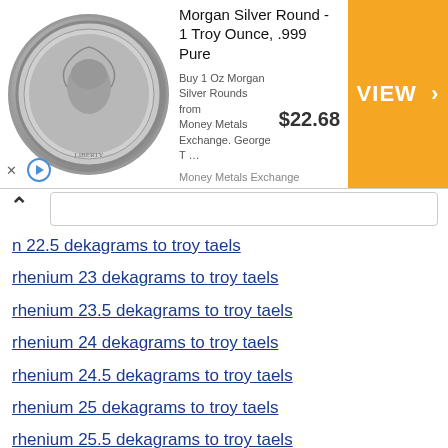[Figure (other): Advertisement banner for Morgan Silver Round - 1 Troy Ounce, .999 Pure from Money Metals Exchange. Shows coin image, price $22.68, and VIEW button on orange background.]
n 22.5 dekagrams to troy taels
rhenium 23 dekagrams to troy taels
rhenium 23.5 dekagrams to troy taels
rhenium 24 dekagrams to troy taels
rhenium 24.5 dekagrams to troy taels
rhenium 25 dekagrams to troy taels
rhenium 25.5 dekagrams to troy taels
rhenium 26 dekagrams to troy taels
rhenium 26.5 dekagrams to troy taels
rhenium 27 dekagrams to troy taels